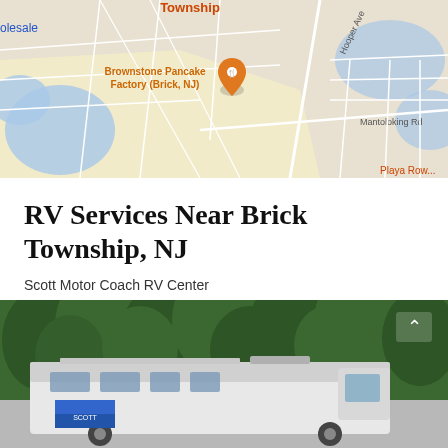[Figure (map): Google Maps view of Brick Township, NJ area showing roads including Hooper Ave, Mantoloking Rd, and a pin for Brownstone Pancake Factory (Brick, NJ). Water bodies visible in blue, roads in white on light gray/yellow background.]
RV Services Near Brick Township, NJ
Scott Motor Coach RV Center
[Figure (photo): Photo of a white RV/van parked in front of green trees. A scroll-up arrow icon is visible in the upper right corner of the image.]